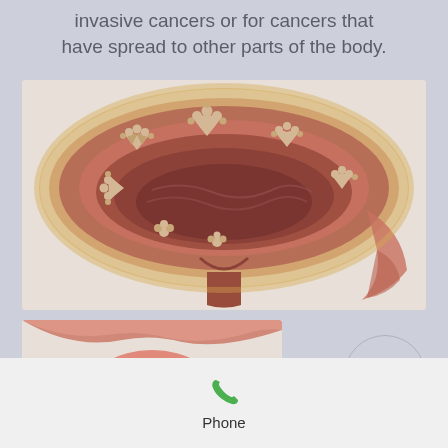invasive cancers or for cancers that have spread to other parts of the body.
[Figure (illustration): Medical illustration showing a cross-section of the bladder with multiple tumor growths visible along the interior wall, depicting invasive bladder cancer.]
[Figure (illustration): Medical illustration showing a cross-section of the male pelvic region with a surgical instrument inserted, depicting a biopsy or surgical procedure related to bladder or prostate cancer.]
Phone